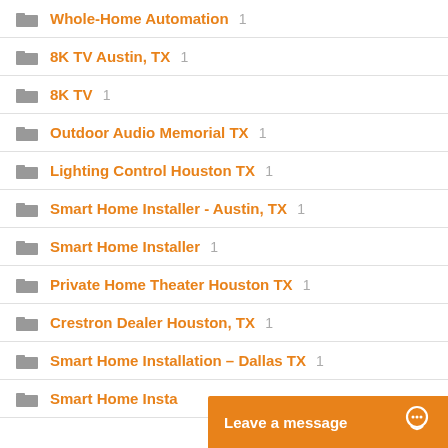Whole-Home Automation 1
8K TV Austin, TX 1
8K TV 1
Outdoor Audio Memorial TX 1
Lighting Control Houston TX 1
Smart Home Installer - Austin, TX 1
Smart Home Installer 1
Private Home Theater Houston TX 1
Crestron Dealer Houston, TX 1
Smart Home Installation – Dallas TX 1
Smart Home Insta…
Leave a message